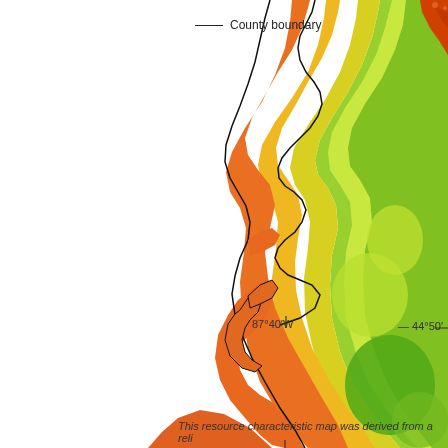[Figure (map): A choropleth/continuous color map showing a geographic region along Lake Michigan shoreline (Wisconsin area). The map uses a color gradient from green (lower values) to yellow to orange (higher values) to represent some environmental or ecological measurement. County boundaries are shown. Coordinate labels 87°40'W and 44°50' are visible. The colored region occupies the right portion of the map, shaped like a peninsula along the eastern edge.]
County boundary
This resource characteristic map was derived from a reli